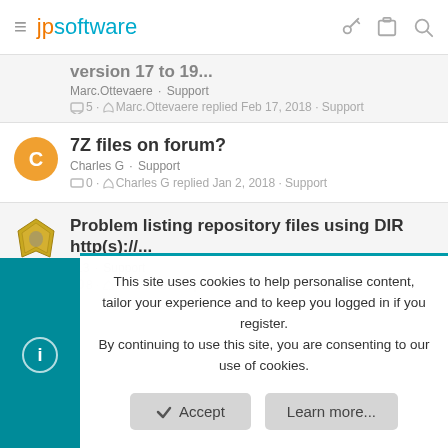jpsoftware
version 17 to 19 - Marc.Ottevaere · Support · 5 · Marc.Ottevaere replied Feb 17, 2018 · Support
7Z files on forum?
Charles G · Support · 0 · Charles G replied Jan 2, 2018 · Support
Problem listing repository files using DIR http(s)://...
x13 · Support · 8 · AnrDaemon replied Jan 15, 2018 · Support
This site uses cookies to help personalise content, tailor your experience and to keep you logged in if you register. By continuing to use this site, you are consenting to our use of cookies.
Accept  Learn more...